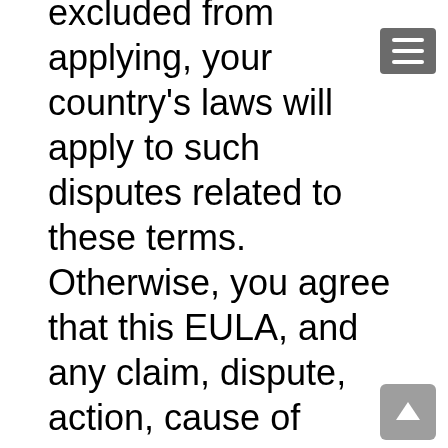excluded from applying, your country's laws will apply to such disputes related to these terms. Otherwise, you agree that this EULA, and any claim, dispute, action, cause of action, issue, or request for relief relating to this EULA, will be governed by the laws of CManitoba, without giving effect to any conflicts of laws principles that require the application of the laws of a different jurisdiction. Any action or proceeding relating to this EULA must be brought in a federal or state court located in Manitoba Province, Canada and each party irrevocably submits to the jurisdiction and venue of any such court in any such claim or dispute, except that